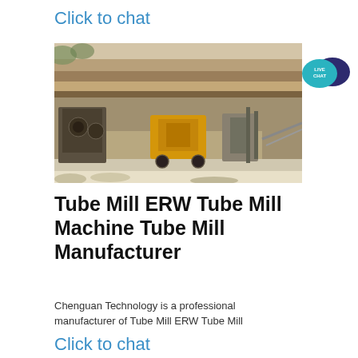Click to chat
[Figure (photo): Outdoor quarry/mining site with heavy machinery including crushers and excavation equipment, rocky terrain with layered cliff face in background]
[Figure (logo): Live Chat badge - teal speech bubble with 'LIVE CHAT' text and dark blue chat icon]
Tube Mill ERW Tube Mill Machine Tube Mill Manufacturer
Chenguan Technology is a professional manufacturer of Tube Mill ERW Tube Mill
Click to chat